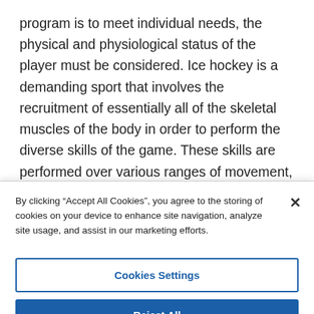program is to meet individual needs, the physical and physiological status of the player must be considered. Ice hockey is a demanding sport that involves the recruitment of essentially all of the skeletal muscles of the body in order to perform the diverse skills of the game. These skills are performed over various ranges of movement, at various velocities and loads, and usually involve several large muscles acting synergistically. Moreover the extended nature of the game, performed over three periods, results in numerous repetitions of each task. Collectively, the repeated
By clicking "Accept All Cookies", you agree to the storing of cookies on your device to enhance site navigation, analyze site usage, and assist in our marketing efforts.
Cookies Settings
Reject All